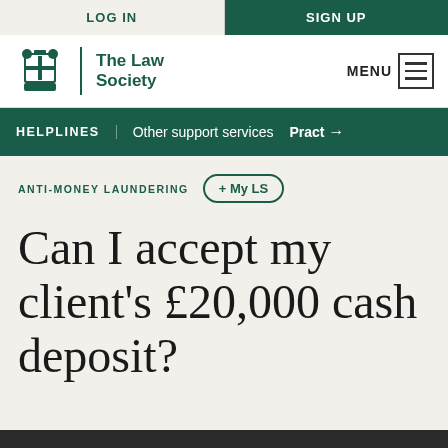LOG IN | SIGN UP
[Figure (logo): The Law Society crest and wordmark logo with MENU button]
HELPLINES | Other support services | Pract →
ANTI-MONEY LAUNDERING  + My LS
Can I accept my client's £20,000 cash deposit?